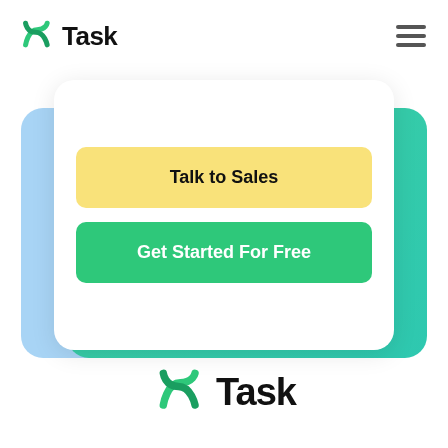[Figure (logo): nTask logo in top navigation bar with hamburger menu icon]
[Figure (screenshot): UI card stack showing two buttons: 'Talk to Sales' (yellow) and 'Get Started For Free' (green), with blue and teal decorative cards behind the white card]
[Figure (logo): nTask logo at bottom center of page, larger version]